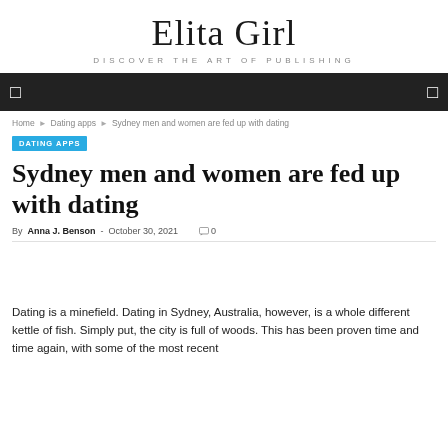Elita Girl
DISCOVER THE ART OF PUBLISHING
DATING APPS
Sydney men and women are fed up with dating
By Anna J. Benson - October 30, 2021  0
Dating is a minefield. Dating in Sydney, Australia, however, is a whole different kettle of fish. Simply put, the city is full of woods. This has been proven time and time again, with some of the most recent